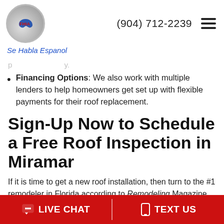FHIA logo | (904) 712-2239 | Se Habla Espanol
Financing Options: We also work with multiple lenders to help homeowners get set up with flexible payments for their roof replacement.
Sign-Up Now to Schedule a Free Roof Inspection in Miramar
If it is time to get a new roof installation, then turn to the #1 remodeler in Florida according to Remodeling Magazine. We can get your roof looking great again. Get started by giving FHIA Remodeling a call to set up a free roof inspection. We'll have
LIVE CHAT | TEXT US